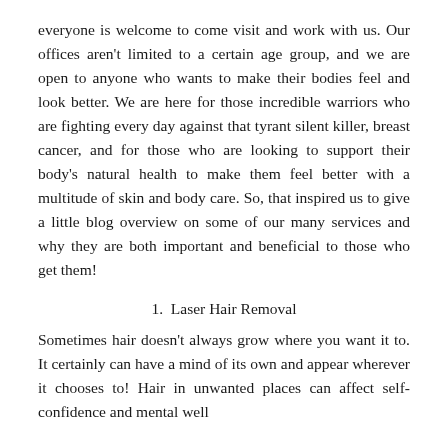everyone is welcome to come visit and work with us. Our offices aren't limited to a certain age group, and we are open to anyone who wants to make their bodies feel and look better. We are here for those incredible warriors who are fighting every day against that tyrant silent killer, breast cancer, and for those who are looking to support their body's natural health to make them feel better with a multitude of skin and body care. So, that inspired us to give a little blog overview on some of our many services and why they are both important and beneficial to those who get them!
1.  Laser Hair Removal
Sometimes hair doesn't always grow where you want it to. It certainly can have a mind of its own and appear wherever it chooses to! Hair in unwanted places can affect self-confidence and mental well